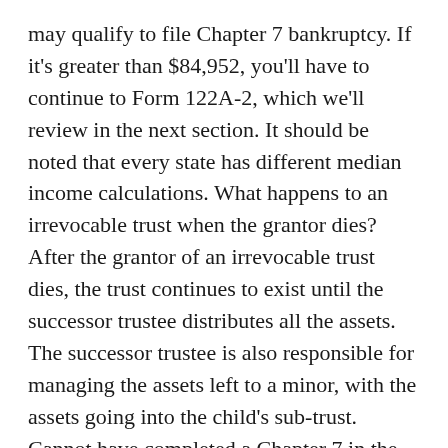may qualify to file Chapter 7 bankruptcy. If it's greater than $84,952, you'll have to continue to Form 122A-2, which we'll review in the next section. It should be noted that every state has different median income calculations. What happens to an irrevocable trust when the grantor dies? After the grantor of an irrevocable trust dies, the trust continues to exist until the successor trustee distributes all the assets. The successor trustee is also responsible for managing the assets left to a minor, with the assets going into the child's sub-trust. Cannot have completed a Chapter 7 in the past eight years or a Chapter 13 bankruptcy within the past six years. Foundation Revocable Trusts Attorney is The Law Firm Of Steven F. Bliss Esq. (858) 278-2800 What debt is not forgiven by bankruptcy? Other Non-Dischargeable Debts in Bankruptcy.